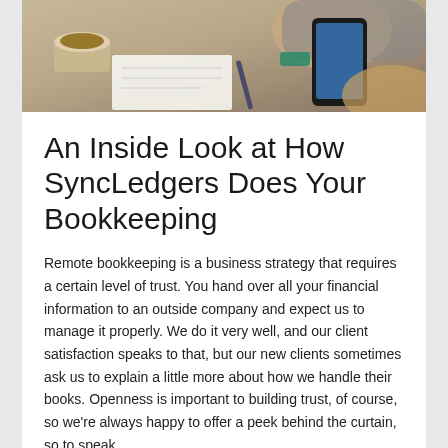[Figure (photo): Overhead photo of a person using a smartphone at a desk with coffee cup, papers, and a pen visible]
An Inside Look at How SyncLedgers Does Your Bookkeeping
Remote bookkeeping is a business strategy that requires a certain level of trust. You hand over all your financial information to an outside company and expect us to manage it properly. We do it very well, and our client satisfaction speaks to that, but our new clients sometimes ask us to explain a little more about how we handle their books. Openness is important to building trust, of course, so we're always happy to offer a peek behind the curtain, so to speak.
Why Bookkeeping Matters